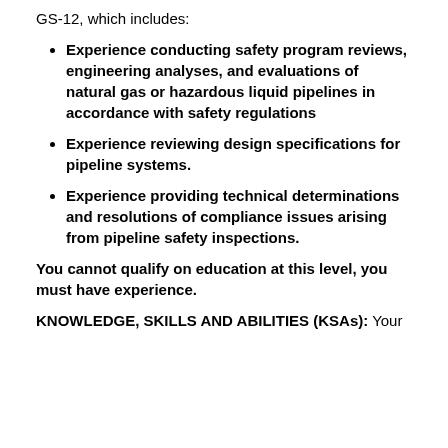GS-12, which includes:
Experience conducting safety program reviews, engineering analyses, and evaluations of natural gas or hazardous liquid pipelines in accordance with safety regulations
Experience reviewing design specifications for pipeline systems.
Experience providing technical determinations and resolutions of compliance issues arising from pipeline safety inspections.
You cannot qualify on education at this level, you must have experience.
KNOWLEDGE, SKILLS AND ABILITIES (KSAs): Your